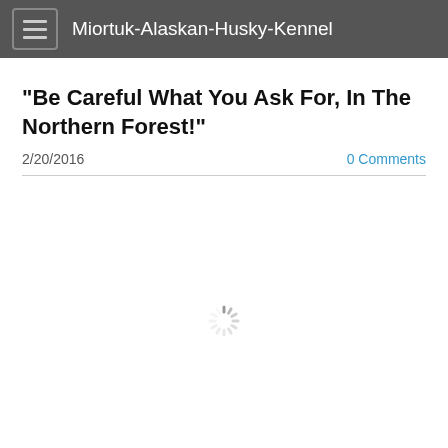Miortuk-Alaskan-Husky-Kennel
"Be Careful What You Ask For, In The Northern Forest!"
2/20/2016
0 Comments
[Figure (other): Loading spinner icon (rotating dashes circle)]